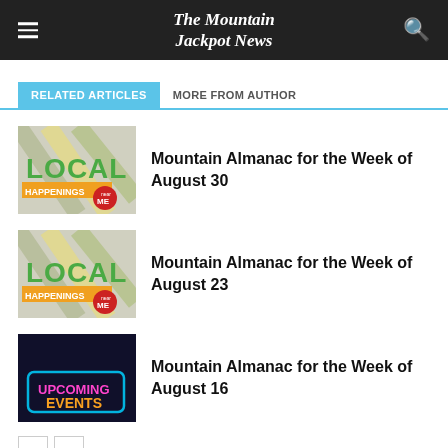The Mountain Jackpot News
RELATED ARTICLES  MORE FROM AUTHOR
[Figure (screenshot): Local Happenings near ME logo thumbnail]
Mountain Almanac for the Week of August 30
[Figure (screenshot): Local Happenings near ME logo thumbnail]
Mountain Almanac for the Week of August 23
[Figure (screenshot): Upcoming Events neon sign thumbnail]
Mountain Almanac for the Week of August 16